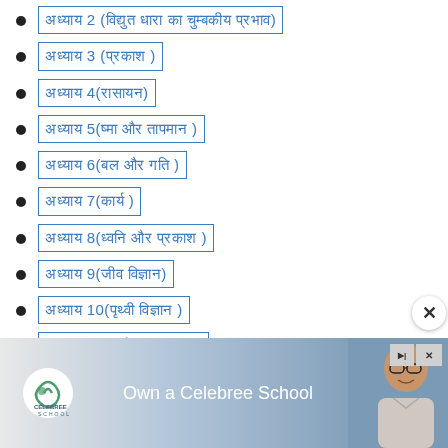अध्याय 2 (विद्युत धारा का चुम्बकीय प्रभाव)
अध्याय 3 (प्रकाश )
अध्याय 4(रासायन)
अध्याय 5(ऊष्मा और तापमान )
अध्याय 6(बल और गति )
अध्याय 7(कार्य )
अध्याय 8(ध्वनि और प्रकाश )
अध्याय 9(जीव विज्ञान)
अध्याय 10(पृथ्वी विज्ञान )
अध्याय 11(पर्यावरण विज्ञान )
[Figure (infographic): Advertisement banner for Celebree School with logo, text 'Own a Celebree School', and a photo of a smiling man wearing glasses]